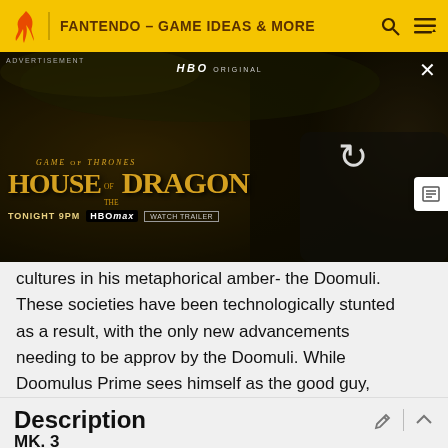FANTENDO - GAME IDEAS & MORE
[Figure (screenshot): HBO Original advertisement for Game of Thrones: House of the Dragon. Shows 'TONIGHT 9PM | HBOmax | WATCH TRAILER' at the bottom. Has a refresh icon on the right side and a close X button.]
cultures in his metaphorical amber- the Doomuli. These societies have been technologically stunted as a result, with the only new advancements needing to be approved by the Doomuli. While Doomulus Prime sees himself as the good guy, what he's doing is a version of galactic imperialism.
Description
MK. 3